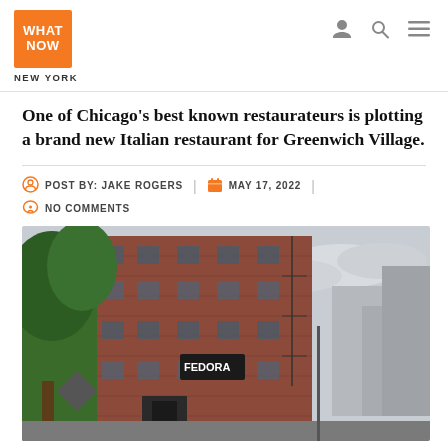WHAT NOW NEW YORK
One of Chicago's best known restaurateurs is plotting a brand new Italian restaurant for Greenwich Village.
POST BY: JAKE ROGERS | MAY 17, 2022 | NO COMMENTS
[Figure (photo): Street-level photo of a red brick building in Greenwich Village with a 'Fedora' restaurant sign visible, trees in the foreground, and a cloudy sky in the background.]